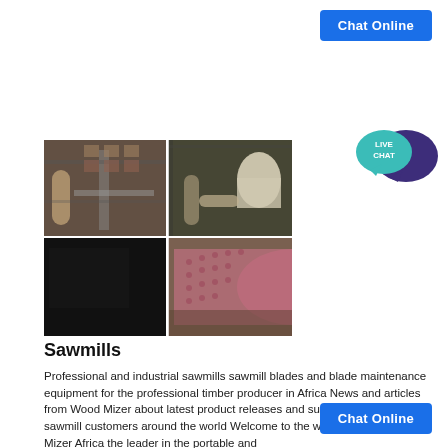[Figure (other): Blue 'Chat Online' button at top right]
[Figure (other): Live Chat speech bubble icon in teal and dark purple]
[Figure (photo): 2x2 collage of industrial sawmill photos: top-left shows metal pipes/racks in a warehouse, top-right shows large industrial machinery with a white cylindrical component, bottom-left is a dark/black image, bottom-right shows a large pink/red cylindrical roller or drum.]
Sawmills
Professional and industrial sawmills sawmill blades and blade maintenance equipment for the professional timber producer in Africa News and articles from Wood Mizer about latest product releases and success stories from sawmill customers around the world Welcome to the website for Wood Mizer Africa the leader in the portable and
[Figure (other): Blue 'Chat Online' button at bottom right]